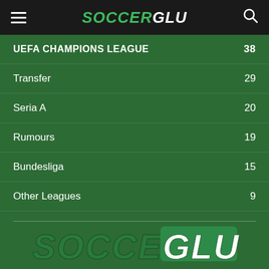SOCCERGLU
UEFA CHAMPIONS LEAGUE 38
Transfer 29
Seria A 20
Rumours 19
Bundesliga 15
Other Leagues 9
[Figure (logo): SoccerGlu logo in large italic bold text, dark green with white GLU highlight]